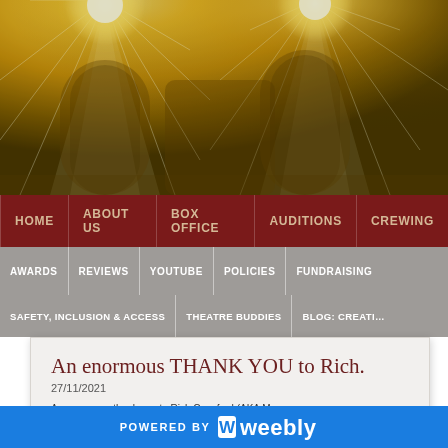[Figure (illustration): Theatre stage lighting hero image with golden spotlight beams radiating from top, warm golden-yellow background with curtain/scenic elements silhouetted]
HOME | ABOUT US | BOX OFFICE | AUDITIONS | CREWING
AWARDS | REVIEWS | YOUTUBE | POLICIES | FUNDRAISING
SAFETY, INCLUSION & ACCESS | THEATRE BUDDIES | BLOG: CREATI...
An enormous THANK YOU to Rich.
27/11/2021
An enormous thank you to Rich Crawford (AKA Mo...
POWERED BY weebly